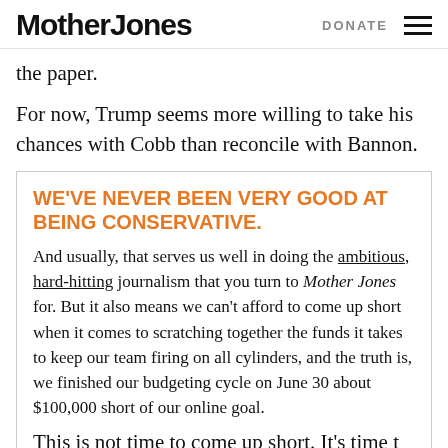Mother Jones | DONATE
the paper.
For now, Trump seems more willing to take his chances with Cobb than reconcile with Bannon.
WE'VE NEVER BEEN VERY GOOD AT BEING CONSERVATIVE.
And usually, that serves us well in doing the ambitious, hard-hitting journalism that you turn to Mother Jones for. But it also means we can't afford to come up short when it comes to scratching together the funds it takes to keep our team firing on all cylinders, and the truth is, we finished our budgeting cycle on June 30 about $100,000 short of our online goal.
This is not time to come up short. It's time t